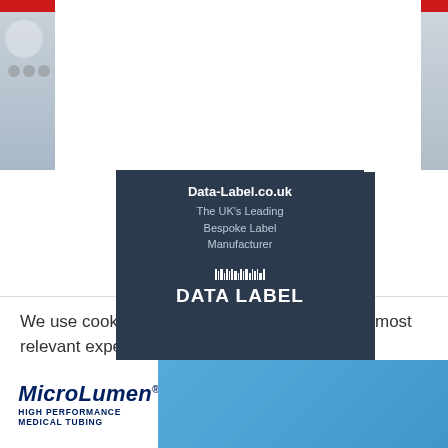[Figure (screenshot): Partial website screenshot with red/grey side panels at top]
[Figure (logo): Data-Label.co.uk advertisement box - dark navy background with text: Data-Label.co.uk, The UK's Leading Bespoke Label Manufacturer, with DATALABEL logo]
[Figure (illustration): Twitter bird icon (blue) and LinkedIn 'in' icon (blue) social media buttons]
We use cookies on our website to give you the most relevant experience by remembering your preferences and repeat visits. By clicking “Accept”, you consent to the use of ALL the cookies.
[Figure (logo): MicroLumen HIGH PERFORMANCE MEDICAL TUBING banner advertisement with orange/blue logo and blue background, with X close button]